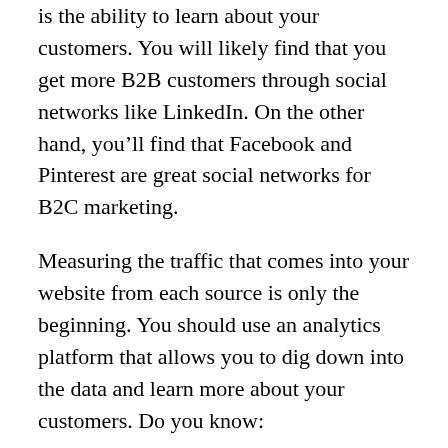is the ability to learn about your customers. You will likely find that you get more B2B customers through social networks like LinkedIn. On the other hand, you’ll find that Facebook and Pinterest are great social networks for B2C marketing.
Measuring the traffic that comes into your website from each source is only the beginning. You should use an analytics platform that allows you to dig down into the data and learn more about your customers. Do you know:
Which social network delivers the most sales to your business?
Do pay-per-click advertisements result in sales or just traffic?
Which of your status updates brought in the